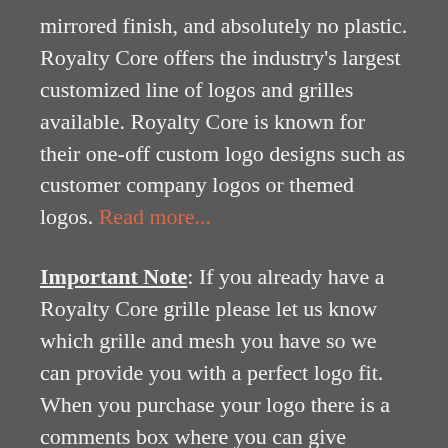mirrored finish, and absolutely no plastic. Royalty Core offers the industry's largest customized line of logos and grilles available. Royalty Core is known for their one-off custom logo designs such as customer company logos or themed logos. Read more...
Important Note: If you already have a Royalty Core grille please let us know which grille and mesh you have so we can provide you with a perfect logo fit. When you purchase your logo there is a comments box where you can give specific mounting information if needed. As an upgrade you can customize the size, colors, or have design or text added or removed.